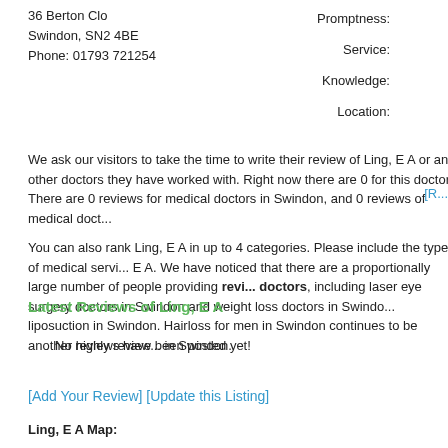36 Berton Clo
Swindon, SN2 4BE
Phone: 01793 721254
Promptness:
Service:
Knowledge:
Location:
We ask our visitors to take the time to write their review of Ling, E A or any other doctors they have worked with. Right now there are 0 for this doctor. There are 0 reviews for medical doctors in Swindon, and 0 reviews of medical doct...
You can also rank Ling, E A in up to 4 categories. Please include the type of medical servi... E A. We have noticed that there are a proportionally large number of people providing revi... doctors, including laser eye surgery doctors in Swindon and weight loss doctors in Swindo... liposuction in Swindon. Hairloss for men in Swindon continues to be another highly review... in Swindon.
Latest Reviews of Ling, E A
No reviews have been posted yet!
[Add Your Review] [Update this Listing]
Ling, E A Map: